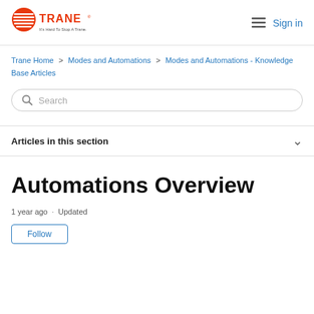[Figure (logo): Trane logo with red circle icon and tagline 'It's Hard To Stop A Trane']
Sign in
Trane Home > Modes and Automations > Modes and Automations - Knowledge Base Articles
Search
Articles in this section
Automations Overview
1 year ago · Updated
Follow